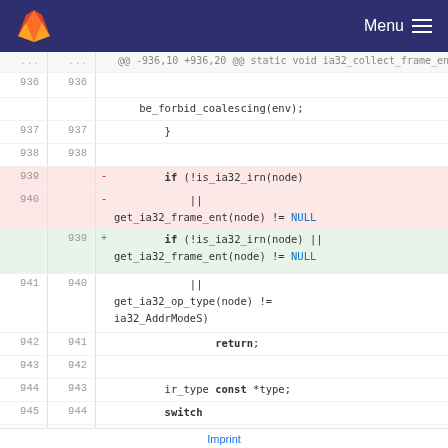Menu
[Figure (screenshot): GitLab code diff view showing changes to ia32_collect_frame_entity_nodes function, lines 936-945, with removed lines 939-940 (split if condition) replaced by added line 939 (combined if condition), and context lines showing be_forbid_coalescing, return, ir_type const *type, switch statements]
Imprint